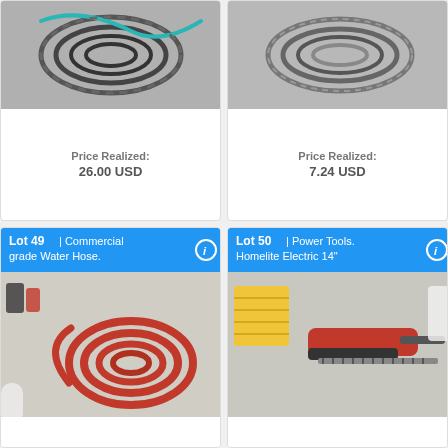[Figure (photo): Top-left: coiled wire/cables on grey surface, price realized area below]
Price Realized:
26.00 USD
[Figure (photo): Top-right: coiled metal cable/wire on grey surface, price realized area below]
Price Realized:
7.24 USD
[Figure (photo): Bottom-left: Lot 49 - Commercial grade Water Hose. Red coiled hose on concrete floor.]
Lot 49 | Commercial grade Water Hose.
[Figure (photo): Bottom-right: Lot 50 - Power Tools. Homelite Electric 14" hedge trimmer on concrete floor with yellow item.]
Lot 50 | Power Tools. Homelite Electric 14"